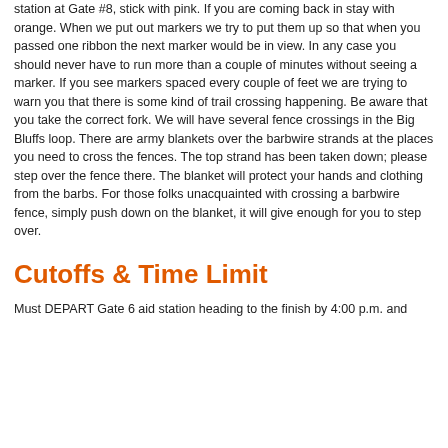station at Gate #8, stick with pink. If you are coming back in stay with orange. When we put out markers we try to put them up so that when you passed one ribbon the next marker would be in view. In any case you should never have to run more than a couple of minutes without seeing a marker. If you see markers spaced every couple of feet we are trying to warn you that there is some kind of trail crossing happening. Be aware that you take the correct fork. We will have several fence crossings in the Big Bluffs loop. There are army blankets over the barbwire strands at the places you need to cross the fences. The top strand has been taken down; please step over the fence there. The blanket will protect your hands and clothing from the barbs. For those folks unacquainted with crossing a barbwire fence, simply push down on the blanket, it will give enough for you to step over.
Cutoffs & Time Limit
Must DEPART Gate 6 aid station heading to the finish by 4:00 p.m. and